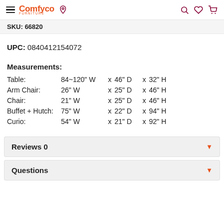Comfyco
SKU: 66820
UPC: 0840412154072
Measurements:
| Item | Width | x | Depth | x | Height |
| --- | --- | --- | --- | --- | --- |
| Table: | 84~120" W | x | 46" D | x | 32" H |
| Arm Chair: | 26" W | x | 25" D | x | 46" H |
| Chair: | 21" W | x | 25" D | x | 46" H |
| Buffet + Hutch: | 75" W | x | 22" D | x | 94" H |
| Curio: | 54" W | x | 21" D | x | 92" H |
Reviews 0
Questions